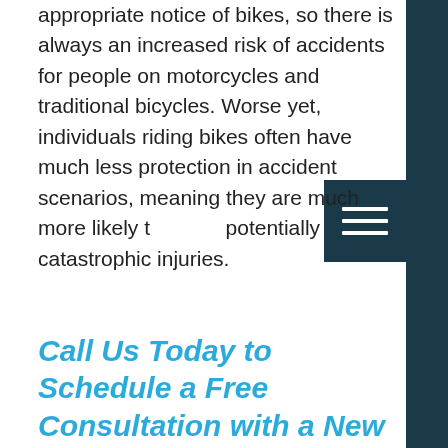appropriate notice of bikes, so there is always an increased risk of accidents for people on motorcycles and traditional bicycles. Worse yet, individuals riding bikes often have much less protection in accident scenarios, meaning they are much more likely to suffer potentially catastrophic injuries.
Call Us Today to Schedule a Free Consultation with a New Orleans Personal Injury Attorney
If you or your loved one suffers injuries in any kind of summertime accident in New Orleans, be quick to hire a lawyer for assistance in holding the negligent party accountable. Egenberg Trial Lawyers know how common these kinds of accidents can be and fights to